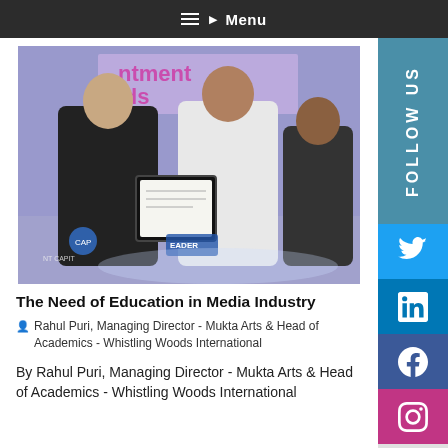Menu
[Figure (photo): Two men on stage, one in black shirt presenting a framed certificate to another in a white checkered shirt, with a third man in background, at an awards ceremony with banners reading 'ards 201' visible]
The Need of Education in Media Industry
Rahul Puri, Managing Director - Mukta Arts & Head of Academics - Whistling Woods International
By Rahul Puri, Managing Director - Mukta Arts & Head of Academics - Whistling Woods International